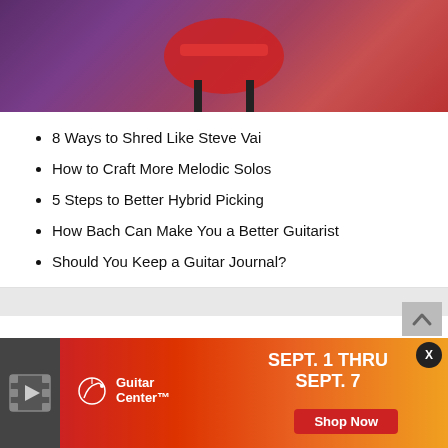[Figure (photo): Red chair against purple/pink background, top portion of an image]
8 Ways to Shred Like Steve Vai
How to Craft More Melodic Solos
5 Steps to Better Hybrid Picking
How Bach Can Make You a Better Guitarist
Should You Keep a Guitar Journal?
Guild Surfliner Review
Charles Saufley
August 22, 2022
[Figure (advertisement): Guitar Center advertisement: SEPT. 1 THRU SEPT. 7 with Shop Now button, red to orange gradient background]